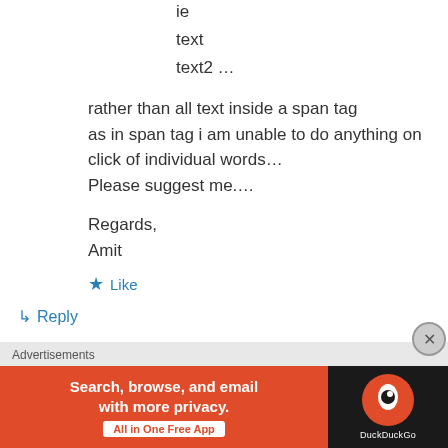ie
text
text2 …
rather than all text inside a span tag
as in span tag i am unable to do anything on
click of individual words…
Please suggest me….
Regards,
Amit
★ Like
↳ Reply
Advertisements
[Figure (other): DuckDuckGo advertisement banner: 'Search, browse, and email with more privacy. All in One Free App' with DuckDuckGo logo on dark background]